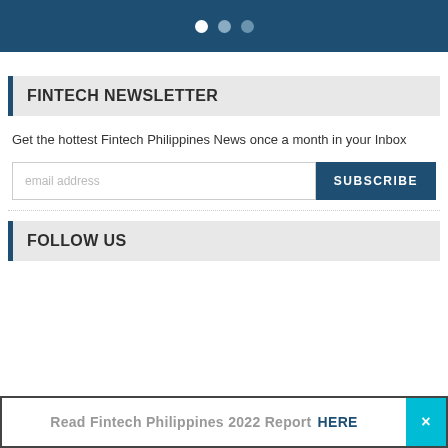[Figure (other): Dark blue banner with three navigation dots (white, medium gray, dark gray) centered at the bottom]
FINTECH NEWSLETTER
Get the hottest Fintech Philippines News once a month in your Inbox
[Figure (other): Email subscription form with email address input field and SUBSCRIBE button]
FOLLOW US
Read Fintech Philippines 2022 Report HERE